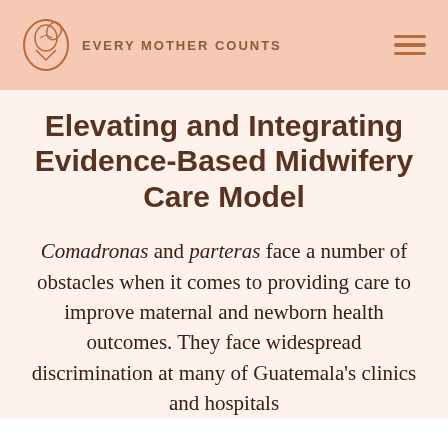EVERY MOTHER COUNTS
Elevating and Integrating Evidence-Based Midwifery Care Model
Comadronas and parteras face a number of obstacles when it comes to providing care to improve maternal and newborn health outcomes. They face widespread discrimination at many of Guatemala's clinics and hospitals